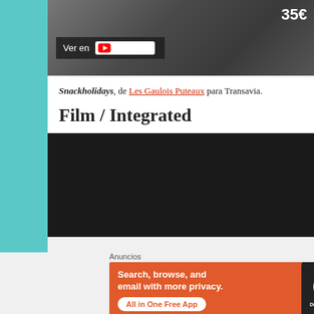[Figure (screenshot): YouTube video thumbnail showing hands with text '35€' visible and a 'Ver en YouTube' overlay button]
Snackholidays, de Les Gaulois Puteaux para Transavia.
Film / Integrated
[Figure (screenshot): Dark video player embed area with close button]
Anuncios
[Figure (infographic): DuckDuckGo advertisement banner: 'Search, browse, and email with more privacy. All in One Free App' with phone graphic showing DuckDuckGo logo]